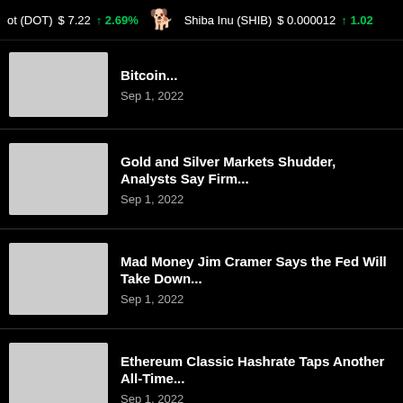ot (DOT)  $7.22  ↑2.69%   Shiba Inu (SHIB)  $0.000012  ↑1.02%
Bitcoin...
Sep 1, 2022
Gold and Silver Markets Shudder, Analysts Say Firm...
Sep 1, 2022
Mad Money Jim Cramer Says the Fed Will Take Down...
Sep 1, 2022
Ethereum Classic Hashrate Taps Another All-Time...
Sep 1, 2022
< PREV   NEXT >   1 of 1,485
Ethereum